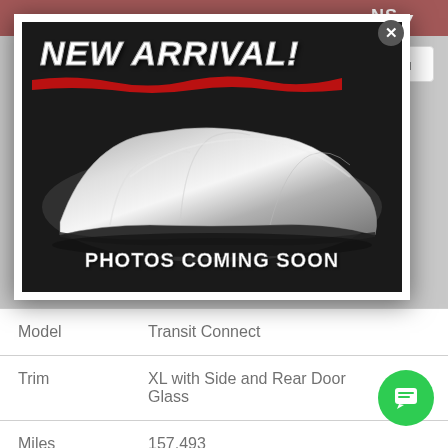[Figure (screenshot): Screenshot of a car dealership webpage showing a modal popup with 'NEW ARRIVAL!' text and a car covered with a silver cover cloth, with 'PHOTOS COMING SOON' text overlay. Below the modal are table rows showing vehicle details: Model: Transit Connect, Trim: XL with Side and Rear Door Glass, Miles: 157,493]
| Field | Value |
| --- | --- |
| Model | Transit Connect |
| Trim | XL with Side and Rear Door Glass |
| Miles | 157,493 |